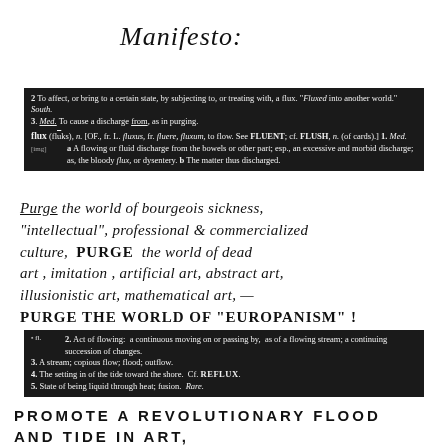Manifesto:
2. To affect, or bring to a certain state, by subjecting to, or treating with, a flux. "Fluxed into another world." South. 3. Med. To cause a discharge from, as in purging. flux (flūks), n. [OF., fr. L. fluxus, fr. fluere, fluxum, to flow. See FLUENT; cf. FLUSH, n. (of cards).] 1. Med. a A flowing or fluid discharge from the bowels or other part; esp., an excessive and morbid discharge; as, the bloody flux, or dysentery. b The matter thus discharged.
Purge the world of bourgeois sickness, "intellectual", professional & commercialized culture, PURGE the world of dead art, imitation, artificial art, abstract art, illusionistic art, mathematical art, — PURGE THE WORLD OF "EUROPANISM" !
2. Act of flowing: a continuous moving on or passing by, as of a flowing stream; a continuing succession of changes. 3. A stream; copious flow; flood; outflow. 4. The setting in of the tide toward the shore. Cf. REFLUX. 5. State of being liquid through heat; fusion. Rare.
PROMOTE A REVOLUTIONARY FLOOD AND TIDE IN ART,